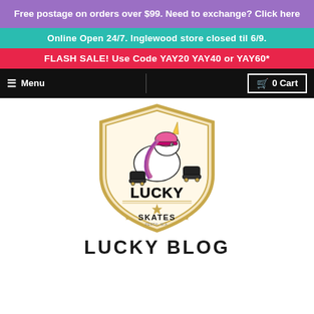Free postage on orders over $99. Need to exchange? Click here
Online Open 24/7. Inglewood store closed til 6/9.
FLASH SALE! Use Code YAY20 YAY40 or YAY60*
Menu   0 Cart
[Figure (logo): Lucky Skates logo — a cartoon unicorn wearing a pink helmet and roller skates, with a shield-shaped badge and the text LUCKY SKATES]
LUCKY BLOG